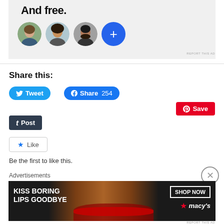[Figure (screenshot): Top ad banner showing 'And free.' text with four circular avatars (three people photos and a blue plus button) on a light gray background]
REPORT THIS AD
Share this:
[Figure (screenshot): Tweet button (blue rounded, Twitter bird icon)]
[Figure (screenshot): Facebook Share 254 button (blue rounded, Facebook f icon)]
[Figure (screenshot): Pinterest Save button (red, P icon)]
[Figure (screenshot): Tumblr Post button (dark navy, t icon)]
[Figure (screenshot): Like button (white with star, bordered)]
Be the first to like this.
Advertisements
[Figure (screenshot): Macy's ad banner: 'KISS BORING LIPS GOODBYE' with SHOP NOW button and Macy's logo, dark background with woman's face photo]